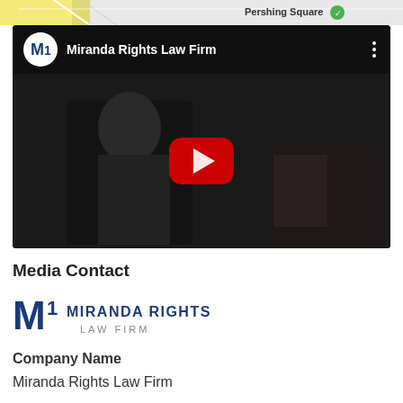[Figure (screenshot): Partial map view showing 'Pershing Square' label with green icon, yellow and grey map tiles]
[Figure (screenshot): YouTube video embed for Miranda Rights Law Firm showing attorney on phone call in dark office setting, with YouTube play button overlay]
Media Contact
[Figure (logo): Miranda Rights Law Firm logo — stylized M1 icon in blue/navy with text 'MIRANDA RIGHTS LAW FIRM']
Company Name
Miranda Rights Law Firm